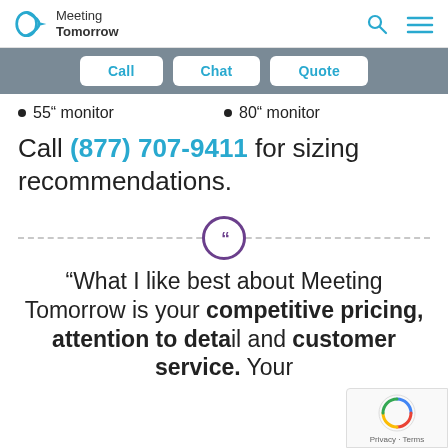Meeting Tomorrow
[Figure (logo): Meeting Tomorrow logo with stylized D arrow icon]
55" monitor
80" monitor
Call (877) 707-9411 for sizing recommendations.
[Figure (illustration): Horizontal dashed divider line with purple circle containing opening quotation marks]
“What I like best about Meeting Tomorrow is your competitive pricing, attention to detail and customer service. Your